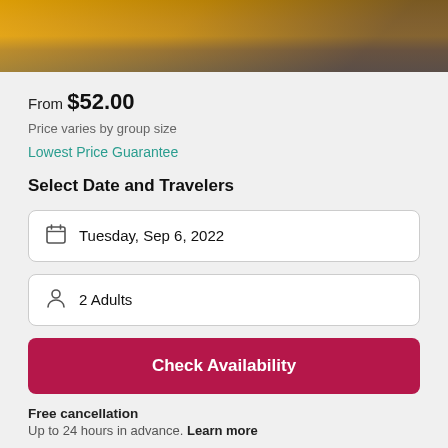[Figure (photo): Sunset sky photo strip with dark silhouette and warm orange/golden tones, partially visible at top of page]
From $52.00
Price varies by group size
Lowest Price Guarantee
Select Date and Travelers
Tuesday, Sep 6, 2022
2 Adults
Check Availability
Free cancellation
Up to 24 hours in advance. Learn more